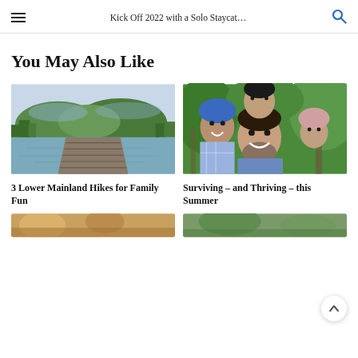Kick Off 2022 with a Solo Staycat…
You May Also Like
[Figure (photo): Scenic lake with boardwalk/dock extending into calm water, surrounded by forested green hills and overcast sky]
3 Lower Mainland Hikes for Family Fun
[Figure (photo): Family selfie of man, woman, and two children in outdoor hiking gear in a green forest setting]
Surviving – and Thriving – this Summer
[Figure (photo): Partial bottom thumbnail image strip, left side]
[Figure (photo): Partial bottom thumbnail image strip, right side]